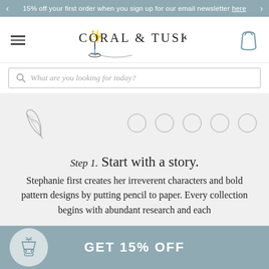15% off your first order when you sign up for our email newsletter here
[Figure (logo): Coral & Tusk logo with decorative tree and whale illustration]
What are you looking for today?
[Figure (illustration): Decorative feather/quill pen illustration with carousel navigation dots]
Step 1. Start with a story.
Stephanie first creates her irreverent characters and bold pattern designs by putting pencil to paper. Every collection begins with abundant research and each
GET 15% OFF